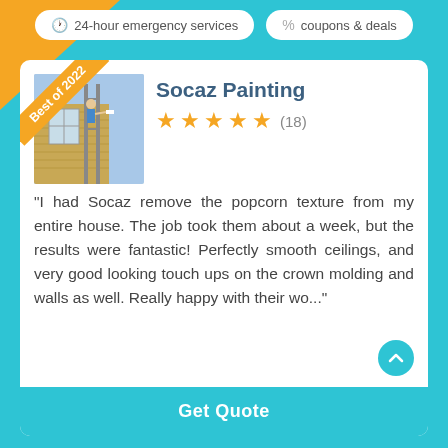24-hour emergency services  |  coupons & deals
Socaz Painting
★★★★★ (18)
“I had Socaz remove the popcorn texture from my entire house. The job took them about a week, but the results were fantastic! Perfectly smooth ceilings, and very good looking touch ups on the crown molding and walls as well. Really happy with their wo...”
Average Price Tag
Licensed, BBB Rating: A+
Free Initial Consultation
Accepts All Major Credit Cards, Check
Get Quote